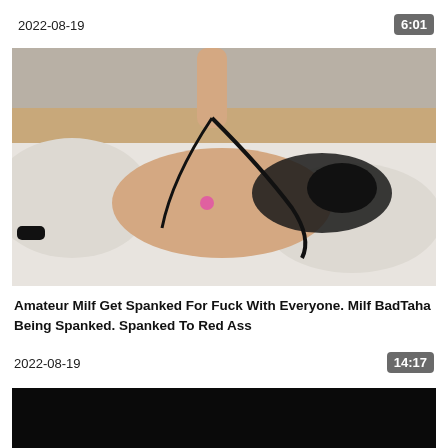2022-08-19
6:01
[Figure (photo): Video thumbnail showing a scene on a white bed in a hotel room]
Amateur Milf Get Spanked For Fuck With Everyone. Milf BadTaha Being Spanked. Spanked To Red Ass
2022-08-19
14:17
[Figure (photo): Dark/black video thumbnail]